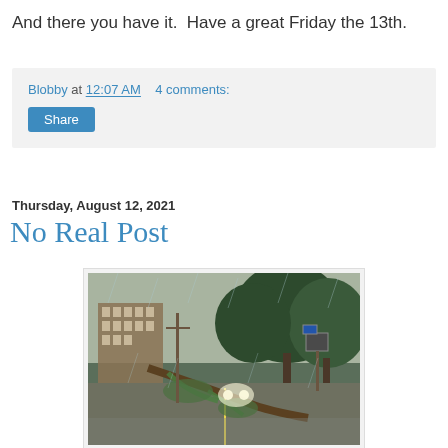And there you have it.  Have a great Friday the 13th.
Blobby at 12:07 AM    4 comments:
Share
Thursday, August 12, 2021
No Real Post
[Figure (photo): A rainy street scene with a fallen tree blocking the road, cars with headlights on, large trees on the right, and a brick building visible on the left background.]